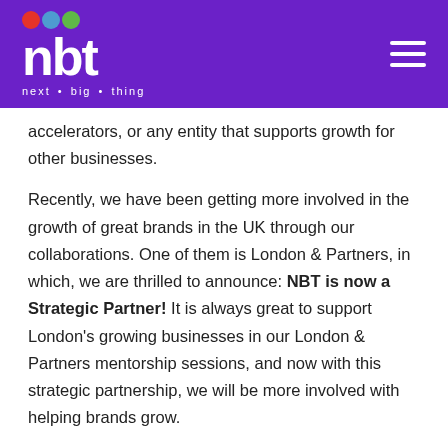nbt next • big • thing
accelerators, or any entity that supports growth for other businesses.
Recently, we have been getting more involved in the growth of great brands in the UK through our collaborations. One of them is London & Partners, in which, we are thrilled to announce: NBT is now a Strategic Partner! It is always great to support London's growing businesses in our London & Partners mentorship sessions, and now with this strategic partnership, we will be more involved with helping brands grow.